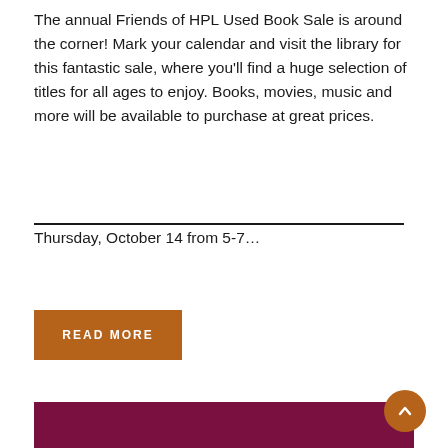The annual Friends of HPL Used Book Sale is around the corner! Mark your calendar and visit the library for this fantastic sale, where you'll find a huge selection of titles for all ages to enjoy. Books, movies, music and more will be available to purchase at great prices.
Thursday, October 14 from 5-7...
[Figure (other): READ MORE button — amber/brown rectangular button with white bold uppercase text 'READ MORE']
[Figure (other): Dark maroon/burgundy colored section at the bottom of the page, partially visible]